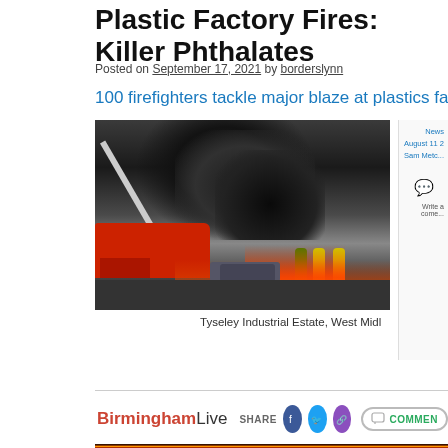Plastic Factory Fires: Killer Phthalates
Posted on September 17, 2021 by borderslynn
100 firefighters tackle major blaze at plastics factor
[Figure (photo): Large black smoke plume rising from a plastics factory fire at Tyseley Industrial Estate, West Midlands, with fire engines and firefighters in high-visibility gear visible in the foreground]
Tyseley Industrial Estate, West Midl
[Figure (screenshot): BirminghamLive website screenshot showing sidebar with News, August 11, Sam Metc... sections and Write a comment option]
[Figure (screenshot): BirminghamLive article bar with logo, SHARE buttons (Facebook, Twitter, link), and COMMENT button]
[Figure (photo): Night-time fire photograph showing large orange and yellow flames against a dark background]